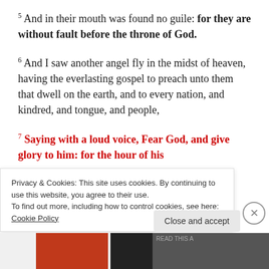5 And in their mouth was found no guile: for they are without fault before the throne of God.
6 And I saw another angel fly in the midst of heaven, having the everlasting gospel to preach unto them that dwell on the earth, and to every nation, and kindred, and tongue, and people,
7 Saying with a loud voice, Fear God, and give glory to him: for the hour of his
Privacy & Cookies: This site uses cookies. By continuing to use this website, you agree to their use.
To find out more, including how to control cookies, see here: Cookie Policy